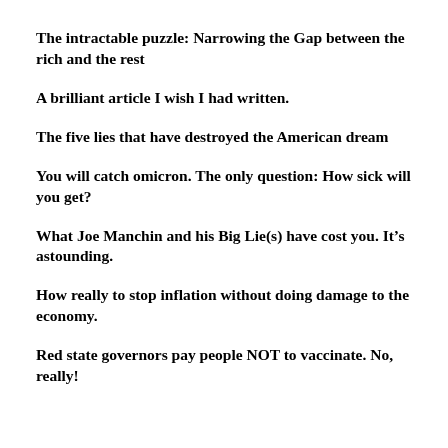The intractable puzzle: Narrowing the Gap between the rich and the rest
A brilliant article I wish I had written.
The five lies that have destroyed the American dream
You will catch omicron. The only question: How sick will you get?
What Joe Manchin and his Big Lie(s) have cost you. It’s astounding.
How really to stop inflation without doing damage to the economy.
Red state governors pay people NOT to vaccinate. No, really!